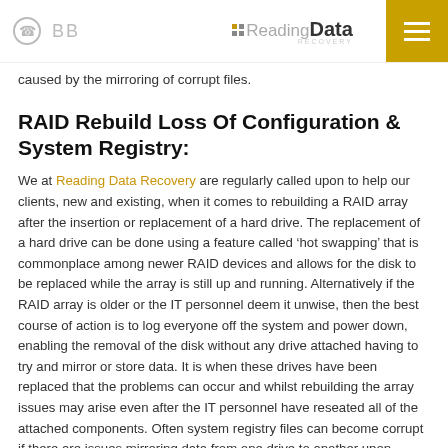BB | Reading Data Recovery
caused by the mirroring of corrupt files.
RAID Rebuild Loss Of Configuration & System Registry:
We at Reading Data Recovery are regularly called upon to help our clients, new and existing, when it comes to rebuilding a RAID array after the insertion or replacement of a hard drive. The replacement of a hard drive can be done using a feature called ‘hot swapping’ that is commonplace among newer RAID devices and allows for the disk to be replaced while the array is still up and running. Alternatively if the RAID array is older or the IT personnel deem it unwise, then the best course of action is to log everyone off the system and power down, enabling the removal of the disk without any drive attached having to try and mirror or store data. It is when these drives have been replaced that the problems can occur and whilst rebuilding the array issues may arise even after the IT personnel have reseated all of the attached components. Often system registry files can become corrupt if there are issues mirroring data from one drive to another upon rebuild so we at Reading Data Recovery have been called upon to help wherever and